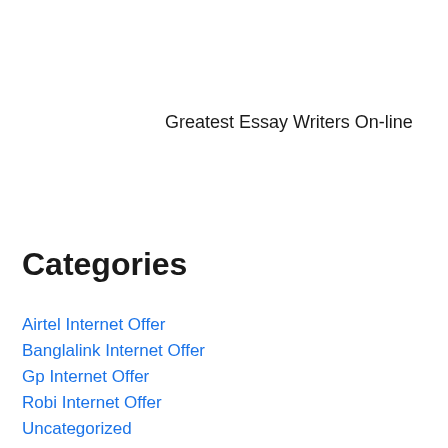Greatest Essay Writers On-line
Categories
Airtel Internet Offer
Banglalink Internet Offer
Gp Internet Offer
Robi Internet Offer
Uncategorized